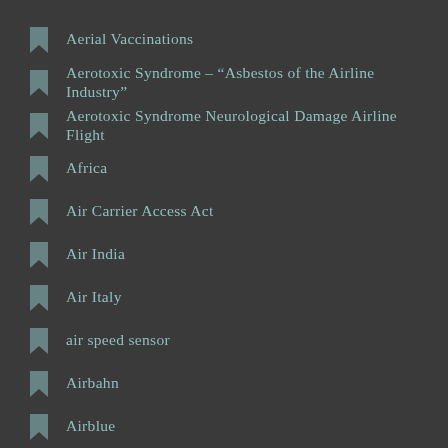Aerial Vaccinations
Aerotoxic Syndrome – "Asbestos of the Airline Industry"
Aerotoxic Syndrome Neurological Damage Airline Flight
Africa
Air Carrier Access Act
Air India
Air Italy
air speed sensor
Airbahn
Airblue
Airborne Chemical Toxins Cost US $340 Billion
Airbus